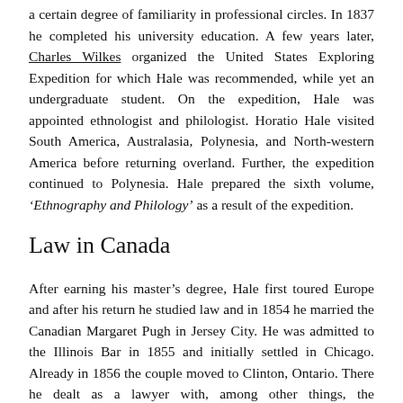a certain degree of familiarity in professional circles. In 1837 he completed his university education. A few years later, Charles Wilkes organized the United States Exploring Expedition for which Hale was recommended, while yet an undergraduate student. On the expedition, Hale was appointed ethnologist and philologist. Horatio Hale visited South America, Australasia, Polynesia, and North-western America before returning overland. Further, the expedition continued to Polynesia. Hale prepared the sixth volume, ‘Ethnography and Philology’ as a result of the expedition.
Law in Canada
After earning his master’s degree, Hale first toured Europe and after his return he studied law and in 1854 he married the Canadian Margaret Pugh in Jersey City. He was admitted to the Illinois Bar in 1855 and initially settled in Chicago. Already in 1856 the couple moved to Clinton, Ontario. There he dealt as a lawyer with, among other things, the administration of his